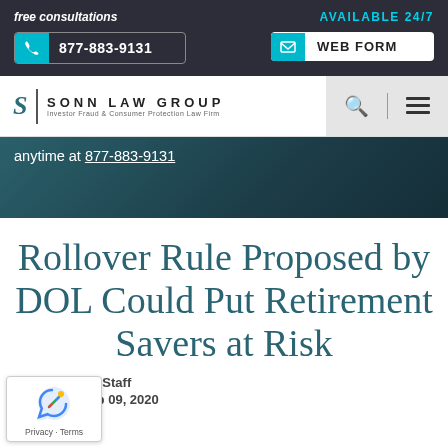free consultations | AVAILABLE 24/7 | 877-883-9131 | WEB FORM
[Figure (logo): Sonn Law Group logo with stylized S, vertical divider, firm name and tagline 'Investor Fraud & Consumer Protection Law Firm']
anytime at 877-883-9131
Rollover Rule Proposed by DOL Could Put Retirement Savers at Risk
by Sonn Law Staff
Published Sep 09, 2020